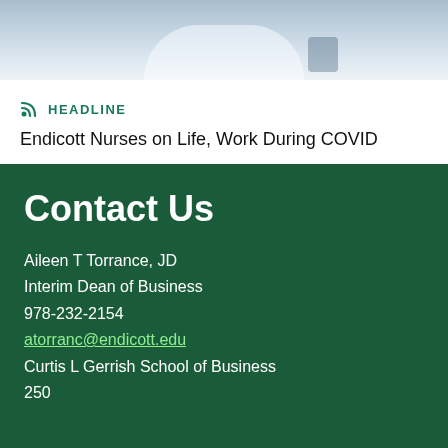[Figure (photo): Partial photo of a person in a white lab coat or uniform, cropped at the top of the page]
HEADLINE
Endicott Nurses on Life, Work During COVID
Contact Us
Aileen T Torrance, JD
Interim Dean of Business
978-232-2154
atorranc@endicott.edu
Curtis L Gerrish School of Business
250